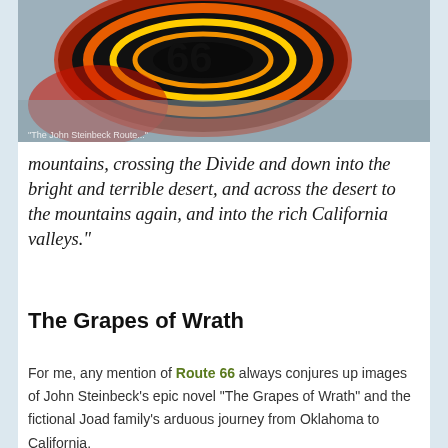[Figure (photo): Close-up of a neon Route 66 sign with glowing orange/yellow and red rings on a dark background, photographed against a grey surface.]
"The John Steinbeck..."
mountains, crossing the Divide and down into the bright and terrible desert, and across the desert to the mountains again, and into the rich California valleys."
The Grapes of Wrath
For me, any mention of Route 66 always conjures up images of John Steinbeck's epic novel “The Grapes of Wrath” and the fictional Joad family’s arduous journey from Oklahoma to California.